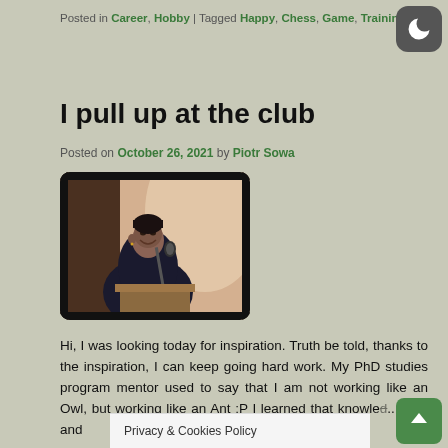Posted in Career, Hobby | Tagged Happy, Chess, Game, Training
I pull up at the club
Posted on October 26, 2021 by Piotr Sowa
[Figure (photo): A woman in academic graduation robes speaking at a podium with a microphone]
Hi, I was looking today for inspiration. Truth be told, thanks to the inspiration, I can keep going hard work. My PhD studies program mentor used to say that I am not working like an Owl, but working like an Ant :P I learned that knowle... ...ays, and